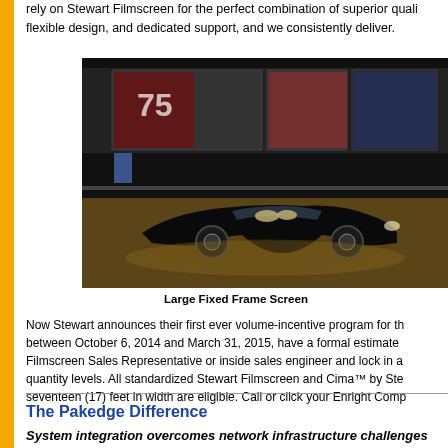rely on Stewart Filmscreen for the perfect combination of superior quality, flexible design, and dedicated support, and we consistently deliver.
[Figure (photo): A black sports car displayed in a large exhibition hall with a wide LED video wall showing car imagery in the background. Low lighting with warm floor tones.]
Large Fixed Frame Screen
Now Stewart announces their first ever volume-incentive program for those between October 6, 2014 and March 31, 2015, have a formal estimate Filmscreen Sales Representative or inside sales engineer and lock in a quantity levels. All standardized Stewart Filmscreen and Cima™ by Ste seventeen (17) feet in width are eligible. Call or click your Enright Comp
The Pakedge Difference
System integration overcomes network infrastructure challenges